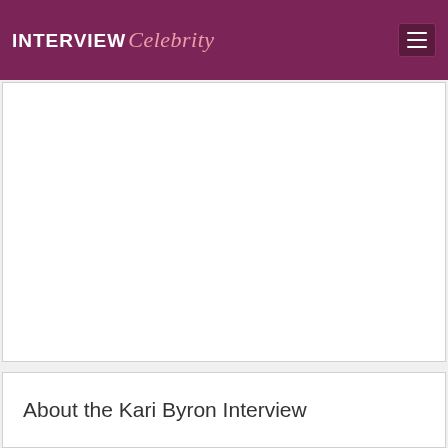INTERVIEW Celebrity
[Figure (other): White blank content area, likely an advertisement placeholder]
About the Kari Byron Interview